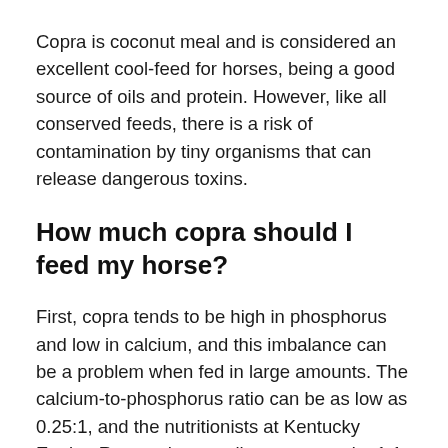Copra is coconut meal and is considered an excellent cool-feed for horses, being a good source of oils and protein. However, like all conserved feeds, there is a risk of contamination by tiny organisms that can release dangerous toxins.
How much copra should I feed my horse?
First, copra tends to be high in phosphorus and low in calcium, and this imbalance can be a problem when fed in large amounts. The calcium-to-phosphorus ratio can be as low as 0.25:1, and the nutritionists at Kentucky Equine Research normally recommend a 1:1